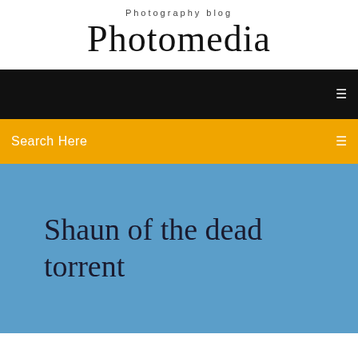Photography blog
Photomedia
[Figure (screenshot): Black navigation bar with a small icon on the right]
Search Here
Shaun of the dead torrent